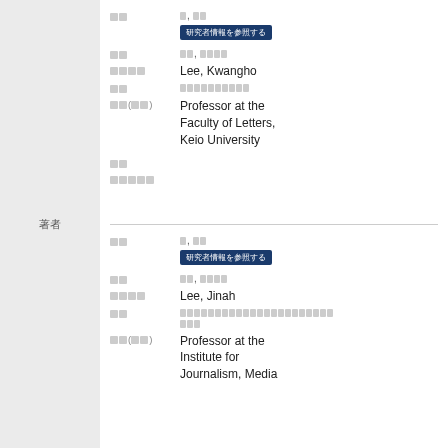著者
| 項目 | 値 |
| --- | --- |
| 番号 | ０, 番号 |
| 姓名 | 李, クァンホ |
| 英語名 | Lee, Kwangho |
| 機関 | 慶應義塾大学文学部 |
| 職位(英語) | Professor at the Faculty of Letters, Keio University |
| 項目 | 値 |
| --- | --- |
| 番号 | ０, 番号 |
| 姓名 | 李, ジナ |
| 英語名 | Lee, Jinah |
| 機関 | 早稲田大学ジャーナリズムメディア研究所 |
| 職位(英語) | Professor at the Institute for Journalism, Media |